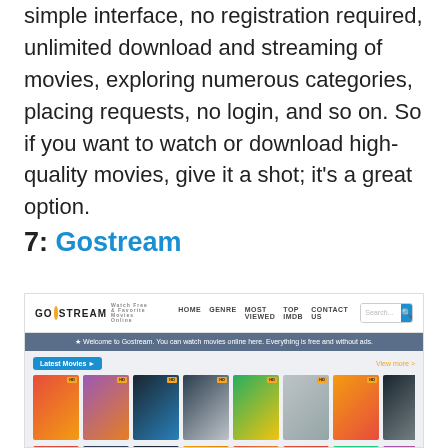simple interface, no registration required, unlimited download and streaming of movies, exploring numerous categories, placing requests, no login, and so on. So if you want to watch or download high-quality movies, give it a shot; it's a great option.
7: Gostream
[Figure (screenshot): Screenshot of the Gostream website showing the navigation bar with logo, genre, most viewed, top IMDB, contact us links, a search bar, a welcome banner, and a grid of movie thumbnails labeled 'Latest Movies'.]